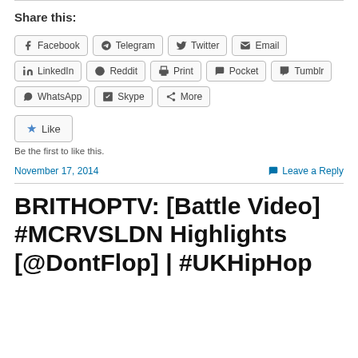Share this:
Facebook | Telegram | Twitter | Email | LinkedIn | Reddit | Print | Pocket | Tumblr | WhatsApp | Skype | More
Like
Be the first to like this.
November 17, 2014
Leave a Reply
BRITHOPTV: [Battle Video] #MCRVSLDN Highlights [@DontFlop] | #UKHipHop